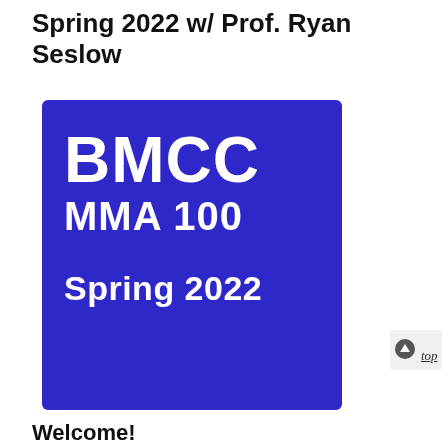Spring 2022 w/ Prof. Ryan Seslow
[Figure (logo): BMCC MMA 100 Spring 2022 logo — blue square with white bold text reading BMCC on top line, MMA 100 on second line, Spring 2022 on third line]
top
Welcome!